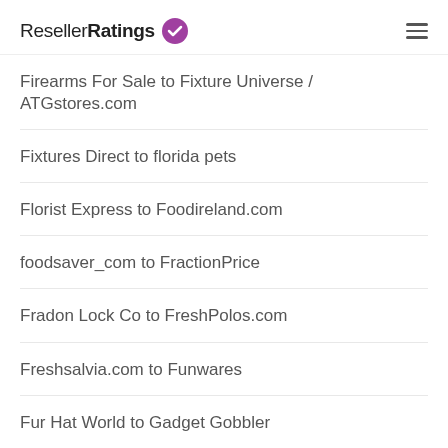ResellerRatings
Firearms For Sale to Fixture Universe / ATGstores.com
Fixtures Direct to florida pets
Florist Express to Foodireland.com
foodsaver_com to FractionPrice
Fradon Lock Co to FreshPolos.com
Freshsalvia.com to Funwares
Fur Hat World to Gadget Gobbler